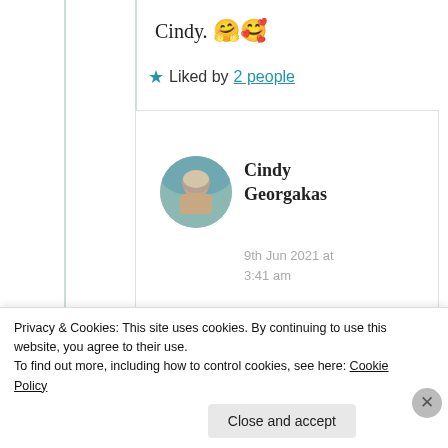Cindy. 🤗🥰
⭐ Liked by 2 people
Cindy Georgakas
9th Jun 2021 at 3:41 am
indeed and thanky kindly
Privacy & Cookies: This site uses cookies. By continuing to use this website, you agree to their use.
To find out more, including how to control cookies, see here: Cookie Policy
Close and accept